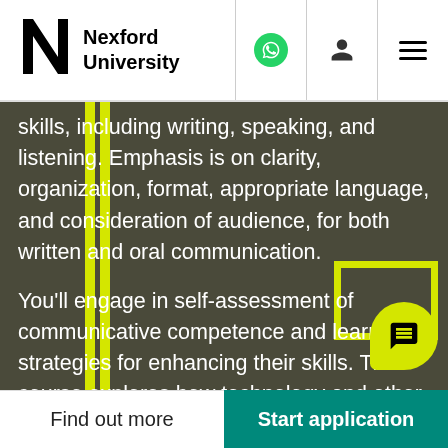[Figure (logo): Nexford University logo with stylized N lettermark and text]
skills, including writing, speaking, and listening. Emphasis is on clarity, organization, format, appropriate language, and consideration of audience, for both written and oral communication.

You'll engage in self-assessment of communicative competence and learn strategies for enhancing their skills. The course explores how technology and other tools are integrated into communications with professional setting and students will be able t
Find out more
Start application